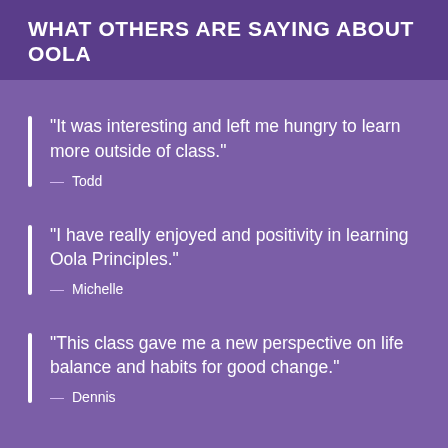WHAT OTHERS ARE SAYING ABOUT OOLA
"It was interesting and left me hungry to learn more outside of class."
— Todd
"I have really enjoyed and positivity in learning Oola Principles."
— Michelle
"This class gave me a new perspective on life balance and habits for good change."
— Dennis